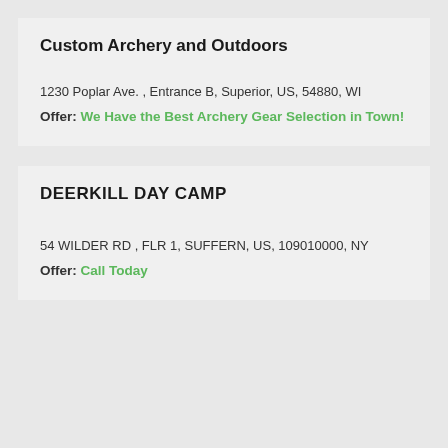Custom Archery and Outdoors
1230 Poplar Ave. , Entrance B, Superior, US, 54880, WI
Offer: We Have the Best Archery Gear Selection in Town!
DEERKILL DAY CAMP
54 WILDER RD , FLR 1, SUFFERN, US, 109010000, NY
Offer: Call Today